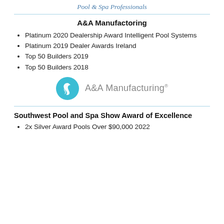Pool & Spa Professionals
A&A Manufactoring
Platinum 2020 Dealership Award Intelligent Pool Systems
Platinum 2019 Dealer Awards Ireland
Top 50 Builders 2019
Top 50 Builders 2018
[Figure (logo): A&A Manufacturing logo: teal circle with white swoosh icon, followed by grey text 'A&A Manufacturing' with trademark symbol]
Southwest Pool and Spa Show Award of Excellence
2x Silver Award Pools Over $90,000 2022